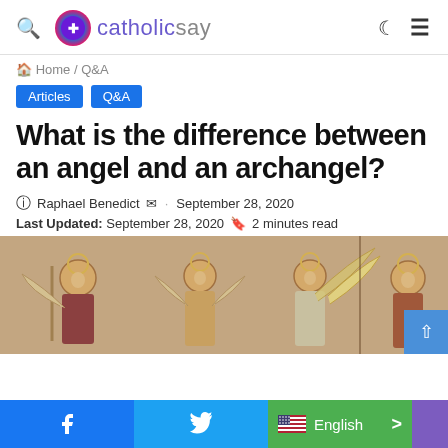catholicsay
Home / Q&A
Articles  Q&A
What is the difference between an angel and an archangel?
Raphael Benedict · September 28, 2020
Last Updated: September 28, 2020  2 minutes read
[Figure (photo): Medieval illustration showing angels with halos and wings in a row]
Facebook  Twitter  English  >